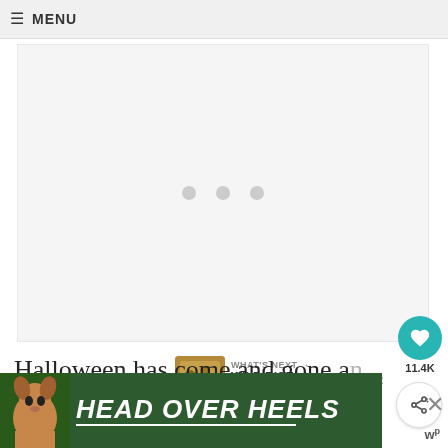≡ MENU
[Figure (photo): Loading placeholder with three grey dots centered on a light grey background]
11.4K
[Figure (infographic): What's Next banner showing a thumbnail of wild rice stuffing with text WHAT'S NEXT → WILD RICE STUFFING...]
Halloween has come and gone and it appears we've gone straight into Christmas m...ase
[Figure (photo): Advertisement banner: HEAD OVER HEELS with a dog photo on green background]